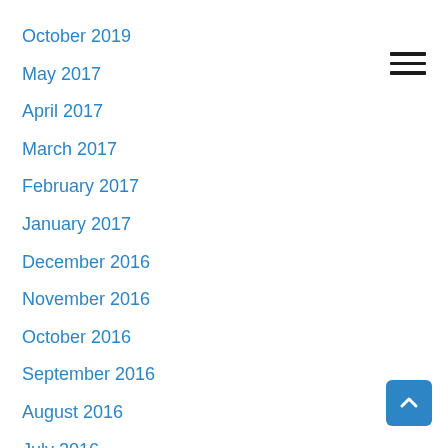October 2019
May 2017
April 2017
March 2017
February 2017
January 2017
December 2016
November 2016
October 2016
September 2016
August 2016
July 2016
June 2016
May 2016
April 2016